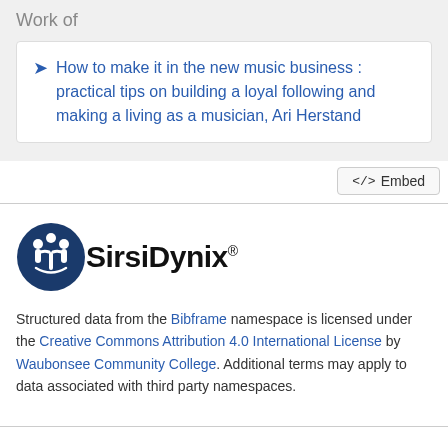Work of
How to make it in the new music business : practical tips on building a loyal following and making a living as a musician, Ari Herstand
</> Embed
[Figure (logo): SirsiDynix logo: circular dark blue icon with white figures, followed by the text 'SirsiDynix' in bold black with a registered trademark symbol]
Structured data from the Bibframe namespace is licensed under the Creative Commons Attribution 4.0 International License by Waubonsee Community College. Additional terms may apply to data associated with third party namespaces.